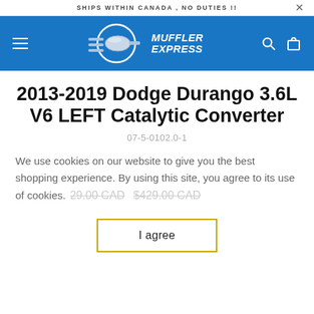SHIPS WITHIN CANADA , NO DUTIES !!
[Figure (logo): Muffler Express logo with muffler graphic and blue header navigation bar including hamburger menu, search icon, and cart icon]
2013-2019 Dodge Durango 3.6L V6 LEFT Catalytic Converter
07-5-0102.0-1
We use cookies on our website to give you the best shopping experience. By using this site, you agree to its use of cookies.
$29.00 CAD  $429.00 CAD
I agree